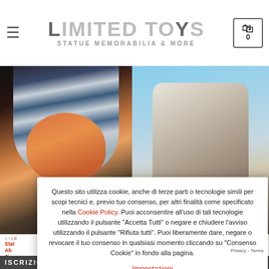LIMITED TOYS STATUE MEMORABILIA & MORE
[Figure (photo): Two product photos side by side: left shows a figure with blue/white striped head covering and orange skin (Ahsoka Tano style), right shows a figure in light-colored armor against blue sky background.]
STAR WARS | STAR WARS MORE
Star Wars Ahsoka Tano Figure €7...
Questo sito utilizza cookie, anche di terze parti o tecnologie simili per scopi tecnici e, previo tuo consenso, per altri finalità come specificato nella Cookie Policy. Puoi acconsentire all'uso di tali tecnologie utilizzando il pulsante "Accetta Tutti" o negare e chiudere l'avviso utilizzando il pulsante "Rifiuta tutti". Puoi liberamente dare, negare o revocare il tuo consenso in qualsiasi momento cliccando su "Consenso Cookie" in fondo alla pagina.
Impostazioni
RIFIUTA TUTTI
ACCETTA TUTTI
ISCRIZIONE NEWSLETTER
Privacy - Terms